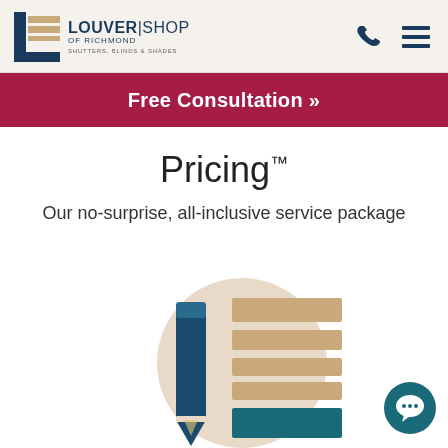[Figure (logo): Louver Shop of Richmond logo with icon showing horizontal slats]
[Figure (other): Phone icon and hamburger menu icon in header]
Free Consultation »
Pricing™
Our no-surprise, all-inclusive service package
[Figure (illustration): Illustration of a pencil next to a stacked list/document with horizontal bars on a beige circular background. Bottom bar is dark teal, upper bars are tan/beige.]
[Figure (other): Teal chat bubble icon in bottom right corner]